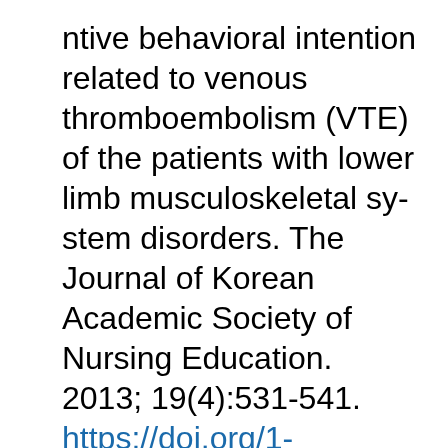ntive behavioral intention related to venous thromboembolism (VTE) of the patients with lower limb musculoskeletal system disorders. The Journal of Korean Academic Society of Nursing Education. 2013; 19(4):531-541. https://doi.org/10.5977/jkasne.2013.19.4.531
Article [external link]
12. Lee JY. A study on the use of information and social co